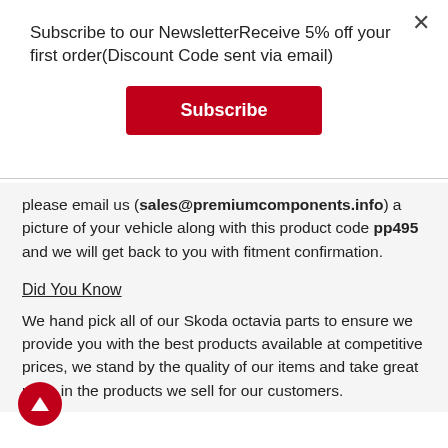Subscribe to our NewsletterReceive 5% off your first order(Discount Code sent via email)
Subscribe
please email us (sales@premiumcomponents.info) a picture of your vehicle along with this product code pp495 and we will get back to you with fitment confirmation.
Did You Know
We hand pick all of our Skoda octavia parts to ensure we provide you with the best products available at competitive prices, we stand by the quality of our items and take great pride in the products we sell for our customers.